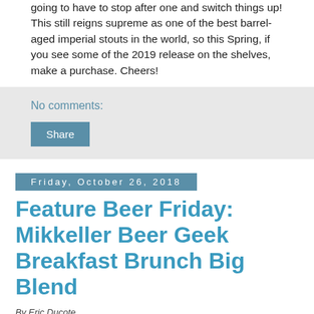going to have to stop after one and switch things up!  This still reigns supreme as one of the best barrel-aged imperial stouts in the world, so this Spring, if you see some of the 2019 release on the shelves, make a purchase.  Cheers!
No comments:
Share
Friday, October 26, 2018
Feature Beer Friday: Mikkeller Beer Geek Breakfast Brunch Big Blend
By Eric Ducote
Good morning everyone!  Today's Feature Beer is the perfect option for a morning beer, the Beer Geek Brunch Big Blend from Mikkeller.  The name is a mashup of the two founders' names, Mikkel Borg Bjergsø, and Kristian Klarup Keller, who started as homebrewers in Denmark before launching Mikkeller and becoming one of the pioneers of gypsy brewing.  Gypsy